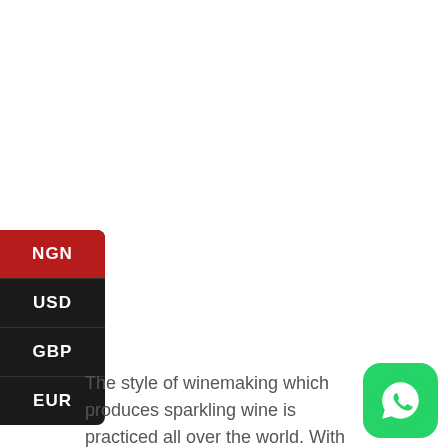[Figure (infographic): Currency selector sidebar with NGN (highlighted in red), USD, GBP, EUR options on dark background]
The style of winemaking which produces sparkling wine is practiced all over the world. With differing emphasis on fruitiness, bubble size, and methods, each country is
[Figure (logo): WhatsApp green rounded square button icon in bottom right corner]